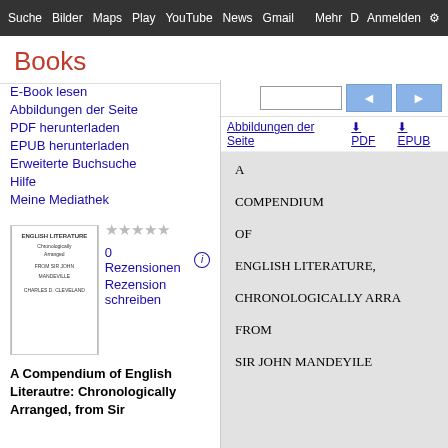Suche Bilder Maps Play YouTube News Gmail Mehr Anmelden
Books
E-Book lesen
Abbildungen der Seite
PDF herunterladen
EPUB herunterladen
Erweiterte Buchsuche
Hilfe
Meine Mediathek
0 Rezensionen
Rezension schreiben
A Compendium of English Literautre: Chronologically Arranged, from Sir
[Figure (screenshot): Google Books page viewer showing toolbar with search box, navigation buttons, links for Abbildungen der Seite, PDF and EPUB download, and a book page displaying text: A COMPENDIUM OF ENGLISH LITERATURE, CHRONOLOGICALLY ARRA... FROM SIR JOHN MANDEYILE]